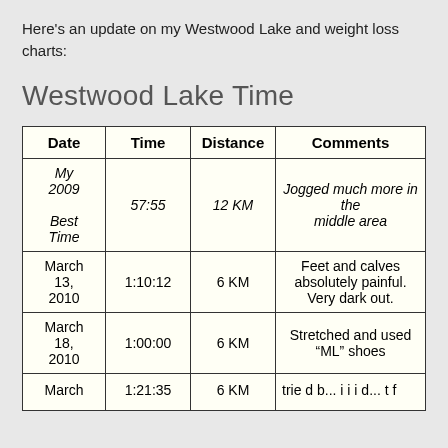Here's an update on my Westwood Lake and weight loss charts:
Westwood Lake Time
| Date | Time | Distance | Comments |
| --- | --- | --- | --- |
| My 2009 Best Time | 57:55 | 12 KM | Jogged much more in the middle area |
| March 13, 2010 | 1:10:12 | 6 KM | Feet and calves absolutely painful. Very dark out. |
| March 18, 2010 | 1:00:00 | 6 KM | Stretched and used “ML” shoes |
| March ... | 1:21:35 | 6 KM | ... |